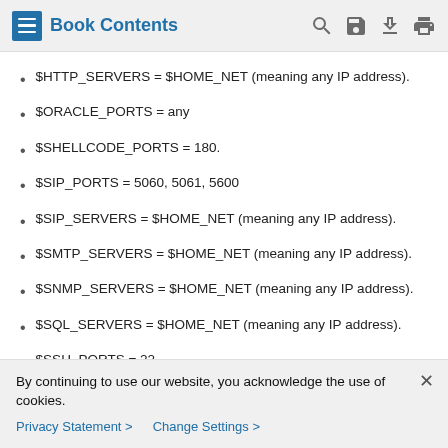Book Contents
$HTTP_SERVERS = $HOME_NET (meaning any IP address).
$ORACLE_PORTS = any
$SHELLCODE_PORTS = 180.
$SIP_PORTS = 5060, 5061, 5600
$SIP_SERVERS = $HOME_NET (meaning any IP address).
$SMTP_SERVERS = $HOME_NET (meaning any IP address).
$SNMP_SERVERS = $HOME_NET (meaning any IP address).
$SQL_SERVERS = $HOME_NET (meaning any IP address).
$SSH_PORTS = 22.
By continuing to use our website, you acknowledge the use of cookies.
Privacy Statement > Change Settings >